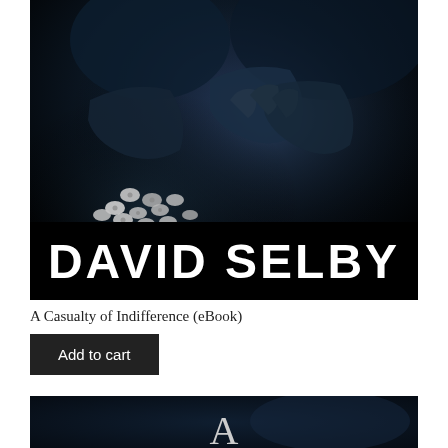[Figure (photo): Book cover for 'A Casualty of Indifference' by David Selby (eBook). Dark atmospheric cover showing hands with pills scattered below, author name DAVID SELBY in large bold white text on black background at bottom of cover image.]
A Casualty of Indifference (eBook)
Add to cart
[Figure (photo): Bottom portion of another book cover, dark navy/black background with a large letter 'A' visible in white/light grey near the center bottom.]